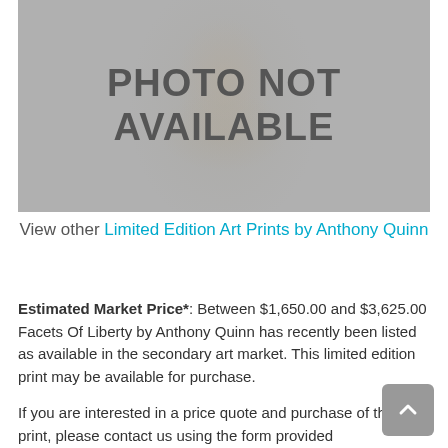[Figure (illustration): Gray placeholder image showing a faint Mona Lisa ghost background with bold text overlay reading PHOTO NOT AVAILABLE]
View other Limited Edition Art Prints by Anthony Quinn
Estimated Market Price*: Between $1,650.00 and $3,625.00 Facets Of Liberty by Anthony Quinn has recently been listed as available in the secondary art market. This limited edition print may be available for purchase.
If you are interested in a price quote and purchase of this print, please contact us using the form provided